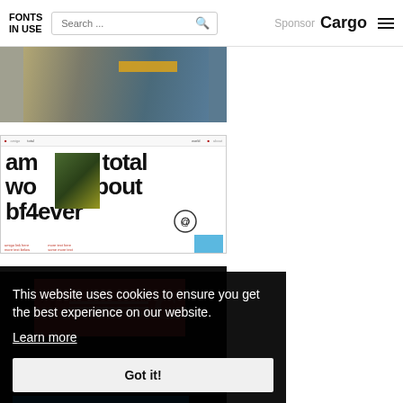FONTS IN USE | Search ... | Sponsor Cargo
[Figure (photo): Partial photo of shelving or display area with golden/yellow stripe visible, top portion of image]
[Figure (screenshot): Screenshot of a website showing large bold text 'amigo total world about bf4ever' with an inserted photo overlay and '@' icon, red links and blue image at bottom]
[Figure (photo): Dark background with pink/red box containing large letters T and C with text lines between them]
This website uses cookies to ensure you get the best experience on our website.
Learn more
Got it!